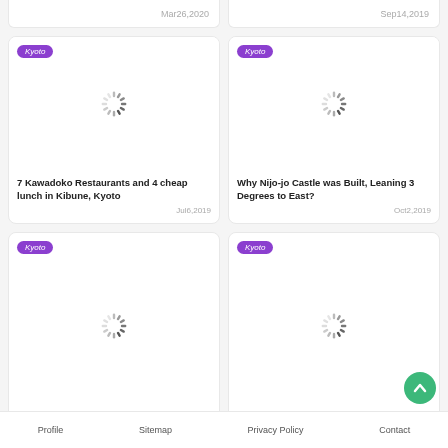Mar 26, 2020
Sep 14, 2019
Kyoto
[Figure (photo): Loading spinner placeholder for blog post image]
7 Kawadoko Restaurants and 4 cheap lunch in Kibune, Kyoto
Jul 6, 2019
Kyoto
[Figure (photo): Loading spinner placeholder for blog post image]
Why Nijo-jo Castle was Built, Leaning 3 Degrees to East?
Oct 2, 2019
Kyoto
[Figure (photo): Loading spinner placeholder for blog post image]
Kyoto
[Figure (photo): Loading spinner placeholder for blog post image]
Profile  Sitemap  Privacy Policy  Contact